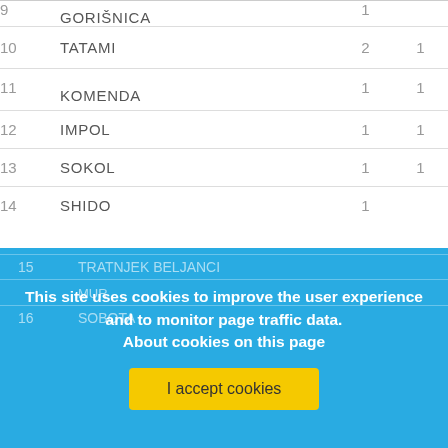| # | Club | Col3 | Col4 |
| --- | --- | --- | --- |
| 9 | GORIŠNICA | 1 |  |
| 10 | TATAMI | 2 | 1 |
| 11 | KOMENDA | 1 | 1 |
| 12 | IMPOL | 1 | 1 |
| 13 | SOKOL | 1 | 1 |
| 14 | SHIDO | 1 |  |
| 15 | TRATNJEK BELJANCI |  |  |
| 16 | MURSKA SOBOTA |  |  |
This site uses cookies to improve the user experience and to monitor page traffic data. About cookies on this page